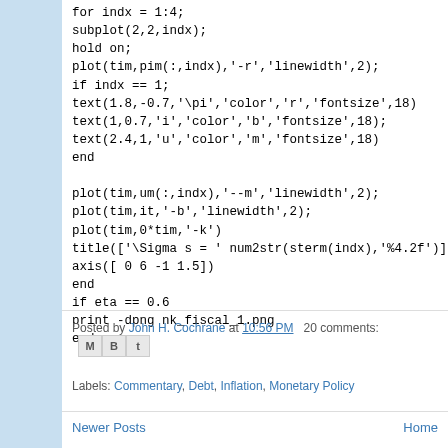for indx = 1:4;
subplot(2,2,indx);
hold on;
plot(tim,pim(:,indx),'-r','linewidth',2);
if indx == 1;
text(1.8,-0.7,'\pi','color','r','fontsize',18)
text(1,0.7,'i','color','b','fontsize',18);
text(2.4,1,'u','color','m','fontsize',18)
end
plot(tim,um(:,indx),'--m','linewidth',2);
plot(tim,it,'-b','linewidth',2);
plot(tim,0*tim,'-k')
title(['\Sigma s = ' num2str(sterm(indx),'%4.2f')],'fontsize',16)
axis([ 0 6 -1 1.5])
end
if eta == 0.6
print -dpng nk_fiscal_1.png
end
Posted by John H. Cochrane at 10:56 PM   20 comments:
Labels: Commentary, Debt, Inflation, Monetary Policy
Newer Posts   Home